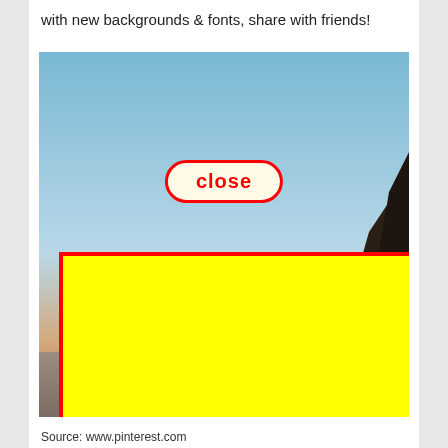with new backgrounds & fonts, share with friends!
[Figure (photo): A scenic photo of a sky with blue gradient at top fading to warm orange/sunset tones near the horizon, with dark rocky cliffs on the right side. Over the image is a 'close' button with red rounded border and yellow background, and a large yellow rectangle with thick red border covering most of the lower portion of the image.]
Source: www.pinterest.com